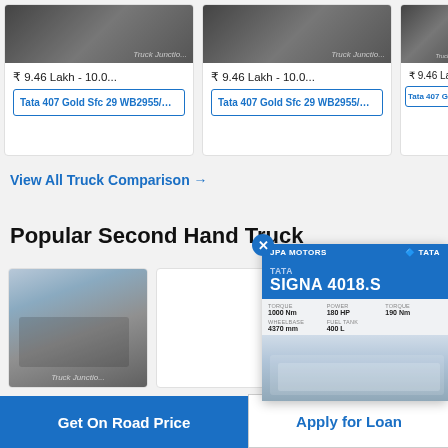[Figure (photo): Truck photo card 1 with price ₹ 9.46 Lakh - 10.0... and link Tata 407 Gold Sfc 29 WB2955/CBC VS ...]
[Figure (photo): Truck photo card 2 with price ₹ 9.46 Lakh - 10.0... and link Tata 407 Gold Sfc 29 WB2955/CBC VS ...]
[Figure (photo): Partial truck photo card 3 with price ₹ 9.46 Lakh - 1 and link Tata 407 Gold...]
View All Truck Comparison →
Popular Second Hand Truck
[Figure (photo): Second hand truck photo card showing a truck (Truck Junction watermark)]
[Figure (infographic): Popup advertisement for Tata Signa 4018.S showing specs: torque, power, wheelbase, fuel tank, with truck image. JPA Motors branding.]
[Figure (photo): Partial photo of another second-hand truck on right edge]
Get On Road Price
Apply for Loan